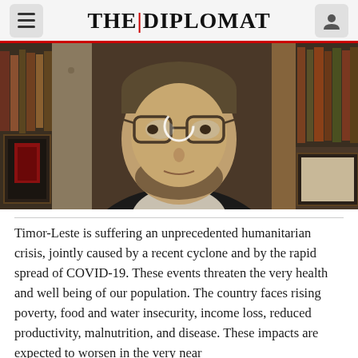THE DIPLOMAT
[Figure (photo): A man with glasses and a beard wearing a dark jacket, seated in front of a bookshelf with various books and a framed poster, appearing to be on a video call or interview.]
Timor-Leste is suffering an unprecedented humanitarian crisis, jointly caused by a recent cyclone and by the rapid spread of COVID-19. These events threaten the very health and well being of our population. The country faces rising poverty, food and water insecurity, income loss, reduced productivity, malnutrition, and disease. These impacts are expected to worsen in the very near